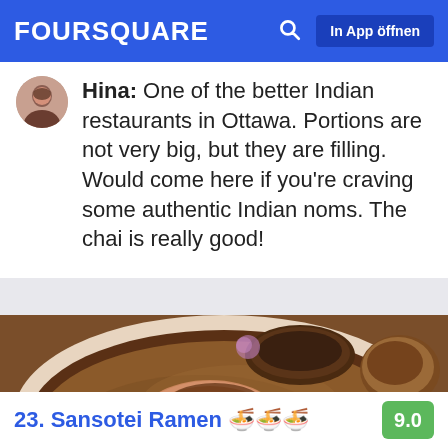FOURSQUARE  In App öffnen
Hina: One of the better Indian restaurants in Ottawa. Portions are not very big, but they are filling. Would come here if you're craving some authentic Indian noms. The chai is really good!
[Figure (photo): Close-up photo of a bowl of ramen with broth, pork chashu, soft-boiled egg cut in half showing orange yolk, green onions, and other toppings]
23. Sansotei Ramen 🍜🍜🍜  9.0